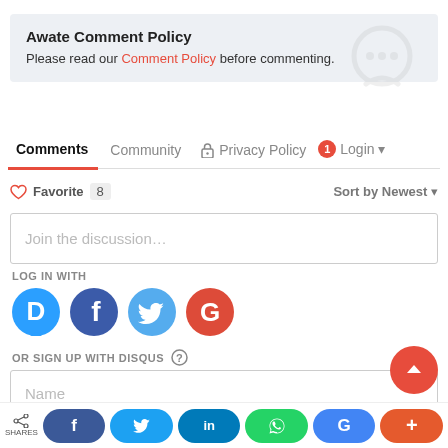Awate Comment Policy
Please read our Comment Policy before commenting.
Comments  Community  Privacy Policy  1  Login
Favorite 8   Sort by Newest
Join the discussion...
LOG IN WITH
[Figure (infographic): Social login icons: Disqus (D), Facebook (f), Twitter bird, Google (G)]
OR SIGN UP WITH DISQUS ?
Name
[Figure (infographic): Bottom share bar with share icon, Facebook, Twitter, LinkedIn, WhatsApp, Google+, plus buttons]